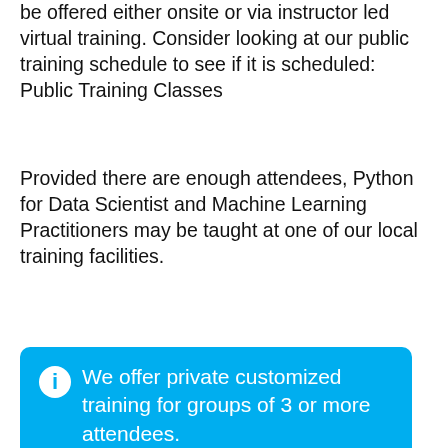be offered either onsite or via instructor led virtual training. Consider looking at our public training schedule to see if it is scheduled: Public Training Classes
Provided there are enough attendees, Python for Data Scientist and Machine Learning Practitioners may be taught at one of our local training facilities.
We offer private customized training for groups of 3 or more attendees.
GET PRICING
PYTHON